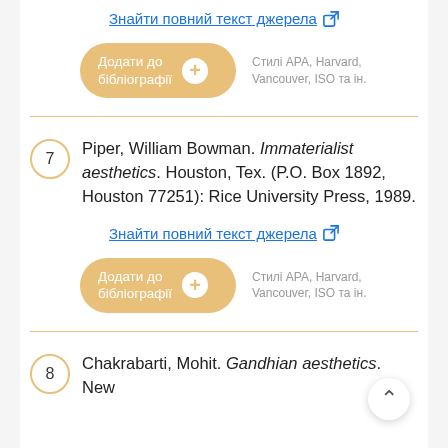Знайти повний текст джерела [external link]
Додати до бібліографії + Стилі APA, Harvard, Vancouver, ISO та ін.
7. Piper, William Bowman. Immaterialist aesthetics. Houston, Tex. (P.O. Box 1892, Houston 77251): Rice University Press, 1989.
Знайти повний текст джерела [external link]
Додати до бібліографії + Стилі APA, Harvard, Vancouver, ISO та ін.
8. Chakrabarti, Mohit. Gandhian aesthetics. New